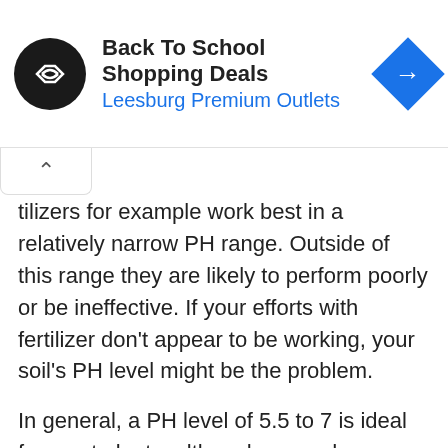[Figure (screenshot): Ad banner for Back To School Shopping Deals at Leesburg Premium Outlets, with black circle logo and blue diamond arrow icon]
tilizers for example work best in a relatively narrow PH range. Outside of this range they are likely to perform poorly or be ineffective. If your efforts with fertilizer don't appear to be working, your soil's PH level might be the problem.
In general, a PH level of 5.5 to 7 is ideal for most plants, although some do grow outside this range. The further you get from it, the more likely you are to have issues with plant growth and fertilizer effectiveness.
We'll talk at the end of this guide about getting